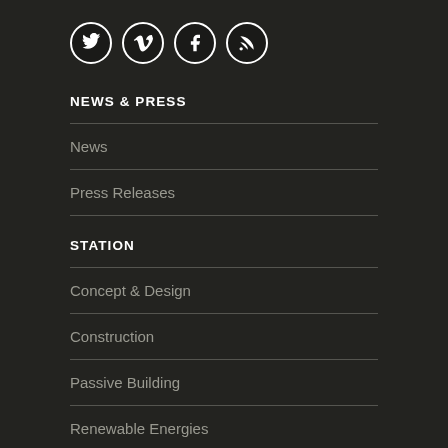[Figure (infographic): Four social media icon circles: Twitter, Vimeo, Facebook, RSS feed]
NEWS & PRESS
News
Press Releases
STATION
Concept & Design
Construction
Passive Building
Renewable Energies
Smart Grid